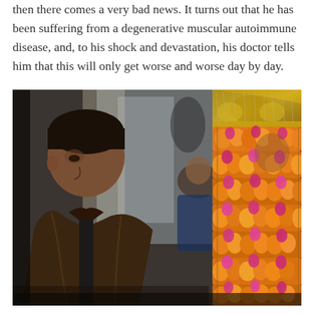then there comes a very bad news. It turns out that he has been suffering from a degenerative muscular autoimmune disease, and, to his shock and devastation, his doctor tells him that this will only get worse and worse day by day.
[Figure (photo): A dramatic scene showing a young South Asian man in a brown leather jacket looking downward with a somber expression. Behind him, slightly out of focus, is another man in a dark blue shirt. To the right is a figure adorned with elaborate orange, yellow, and pink flower garlands with a decorative gold headdress. The setting appears to be indoors with a muted background.]